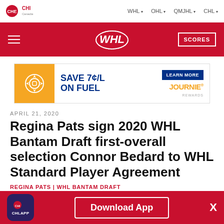CHL | WHL ▾ | OHL ▾ | QMJHL ▾ | CHL ▾
[Figure (screenshot): Red WHL navigation header bar with hamburger menu, WHL logo, and SCORES button]
[Figure (infographic): Advertisement banner: SAVE 7¢/L ON FUEL - LEARN MORE - JOURNIE REWARDS]
APRIL 21, 2020
Regina Pats sign 2020 WHL Bantam Draft first-overall selection Connor Bedard to WHL Standard Player Agreement
REGINA PATS | WHL BANTAM DRAFT
[Figure (infographic): Social share buttons: Facebook, Twitter, Email, LinkedIn]
Download App - CHL App banner